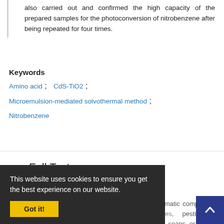also carried out and confirmed the high capacity of the prepared samples for the photoconversion of nitrobenzene after being repeated for four times.
Keywords
Amino acid ;   CdS-TiO2 ;
Microemulsion-mediated solvothermal method ;
Nitrobenzene
— Full Text
INTRODUCTION
Nitrobenzene is considered to be a highly toxic aromatic compound widely used in the synthesis of explosives, pesticides, pharmaceuticals, dyes, lubricating oils, refinement, soaps or shoe polish production and so on. As a suspected carcinogen and toxic compound, it releases nitrobenzene to the environment, and poses a high threat to the human health. It may carry a high risk to the environment, even at low concentrations [1]. T
This website uses cookies to ensure you get the best experience on our website.
Got it!